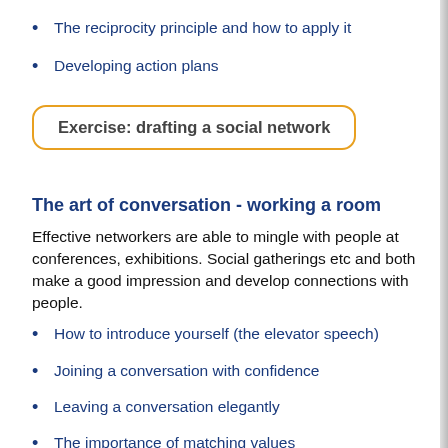The reciprocity principle and how to apply it
Developing action plans
Exercise: drafting a social network
The art of conversation - working a room
Effective networkers are able to mingle with people at conferences, exhibitions. Social gatherings etc and both make a good impression and develop connections with people.
How to introduce yourself (the elevator speech)
Joining a conversation with confidence
Leaving a conversation elegantly
The importance of matching values
Stories and anecdotes and how to use them